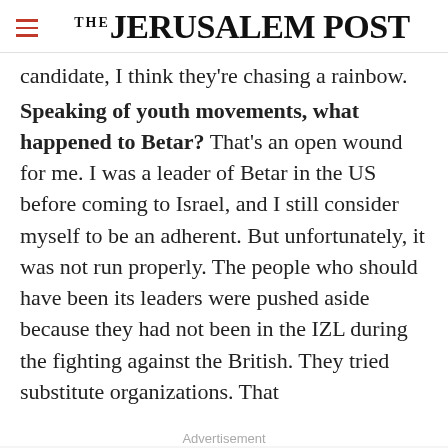THE JERUSALEM POST
candidate, I think they're chasing a rainbow.
Speaking of youth movements, what happened to Betar? That's an open wound for me. I was a leader of Betar in the US before coming to Israel, and I still consider myself to be an adherent. But unfortunately, it was not run properly. The people who should have been its leaders were pushed aside because they had not been in the IZL during the fighting against the British. They tried substitute organizations. That
Advertisement